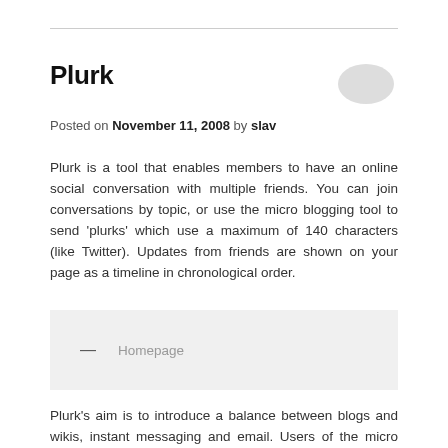Plurk
Posted on November 11, 2008 by slav
Plurk is a tool that enables members to have an online social conversation with multiple friends. You can join conversations by topic, or use the micro blogging tool to send 'plurks' which use a maximum of 140 characters (like Twitter). Updates from friends are shown on your page as a timeline in chronological order.
— Homepage
Plurk's aim is to introduce a balance between blogs and wikis, instant messaging and email. Users of the micro blogging tool use verbs to explain how they are feeling.